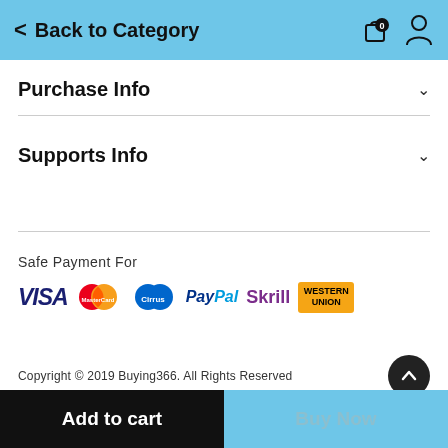< Back to Category
Purchase Info
Supports Info
Safe Payment For
[Figure (logo): Payment method logos: VISA, MasterCard, Cirrus, PayPal, Skrill, Western Union]
Copyright © 2019 Buying366. All Rights Reserved